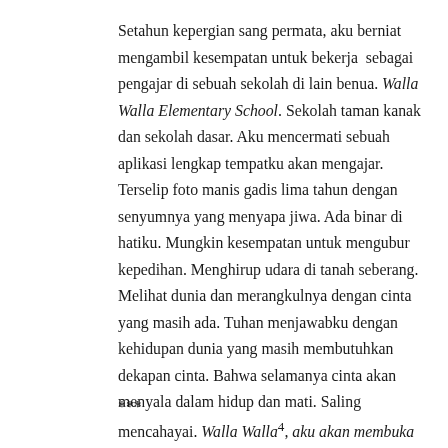Setahun kepergian sang permata, aku berniat mengambil kesempatan untuk bekerja sebagai pengajar di sebuah sekolah di lain benua. Walla Walla Elementary School. Sekolah taman kanak dan sekolah dasar. Aku mencermati sebuah aplikasi lengkap tempatku akan mengajar. Terselip foto manis gadis lima tahun dengan senyumnya yang menyapa jiwa. Ada binar di hatiku. Mungkin kesempatan untuk mengubur kepedihan. Menghirup udara di tanah seberang. Melihat dunia dan merangkulnya dengan cinta yang masih ada. Tuhan menjawabku dengan kehidupan dunia yang masih membutuhkan dekapan cinta. Bahwa selamanya cinta akan menyala dalam hidup dan mati. Saling mencahayai. Walla Walla⁴, aku akan membuka lembar kehidupan baru dengan penuh cinta di kotamu, kota kecil tempat air mengalir.
***